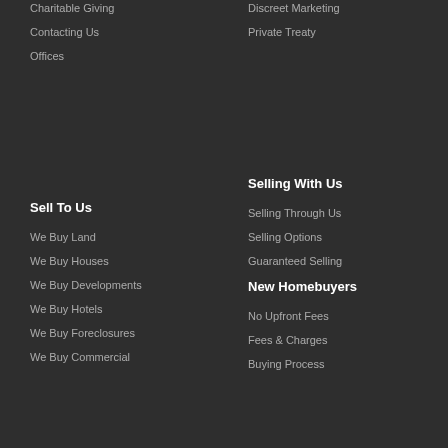Charitable Giving
Discreet Marketing
Contacting Us
Private Treaty
Offices
Sell To Us
Selling With Us
We Buy Land
Selling Through Us
We Buy Houses
Selling Options
We Buy Developments
Guaranteed Selling
We Buy Hotels
New Homebuyers
We Buy Foreclosures
No Upfront Fees
We Buy Commercial
Fees & Charges
Buying Process